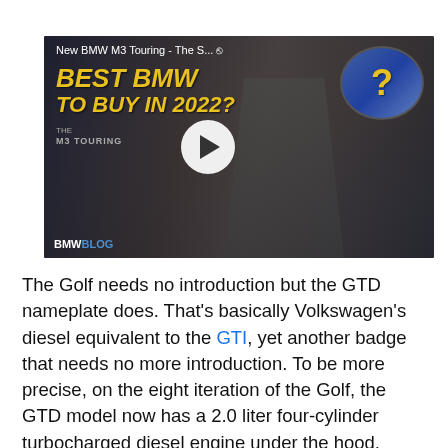[Figure (screenshot): YouTube video thumbnail for 'New BMW M3 Touring - The S...' showing a man in a black t-shirt at a car event. Text reads 'BEST BMW TO BUY IN 2022?' in yellow italic letters. A circular inset shows a blue BMW with a yellow question mark. Bottom-left shows 'BMWBLOG' branding. A white play button circle is centered on the thumbnail.]
The Golf needs no introduction but the GTD nameplate does. That's basically Volkswagen's diesel equivalent to the GTI, yet another badge that needs no more introduction. To be more precise, on the eight iteration of the Golf, the GTD model now has a 2.0 liter four-cylinder turbocharged diesel engine under the hood. making 200 horsepower and